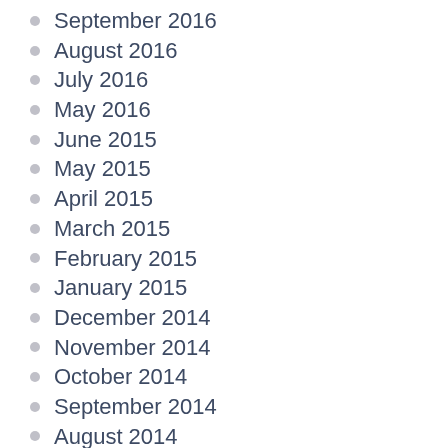September 2016
August 2016
July 2016
May 2016
June 2015
May 2015
April 2015
March 2015
February 2015
January 2015
December 2014
November 2014
October 2014
September 2014
August 2014
July 2014